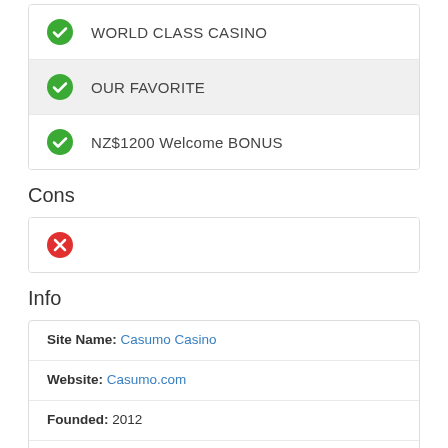WORLD CLASS CASINO
OUR FAVORITE
NZ$1200 Welcome BONUS
Cons
Info
| Site Name: | Casumo Casino |
| Website: | Casumo.com |
| Founded: | 2012 |
| Software: | Bally, Barcrest Games, Elk Studios, Evolution Gaming, GreenTube, IGT (WagerWorks), Microgaming, NetEnt |